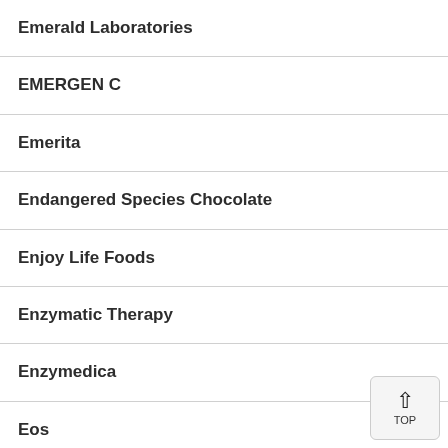Emerald Laboratories
EMERGEN C
Emerita
Endangered Species Chocolate
Enjoy Life Foods
Enzymatic Therapy
Enzymedica
Eos